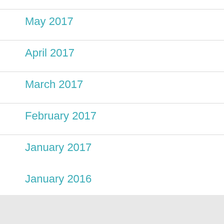May 2017
April 2017
March 2017
February 2017
January 2017
January 2016
February 2015